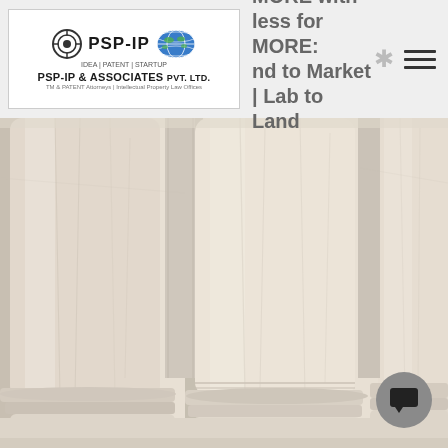[Figure (logo): PSP-IP & Associates Pvt. Ltd. logo with globe icon, ISO certification text, and tagline 'TM & PATENT Attorneys | Intellectual Property Law Offices']
MORE with less for MORE: Land to Market | Lab to Land
[Figure (photo): Close-up photograph of classical white marble columns, architectural background]
[Figure (other): Chat/message button icon in bottom-right corner]